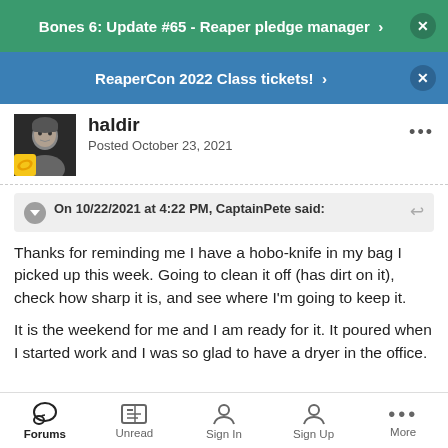Bones 6: Update #65 - Reaper pledge manager
ReaperCon 2022 Class tickets!
haldir
Posted October 23, 2021
On 10/22/2021 at 4:22 PM, CaptainPete said:
Thanks for reminding me I have a hobo-knife in my bag I picked up this week. Going to clean it off (has dirt on it), check how sharp it is, and see where I'm going to keep it.
It is the weekend for me and I am ready for it. It poured when I started work and I was so glad to have a dryer in the office.
Forums  Unread  Sign In  Sign Up  More